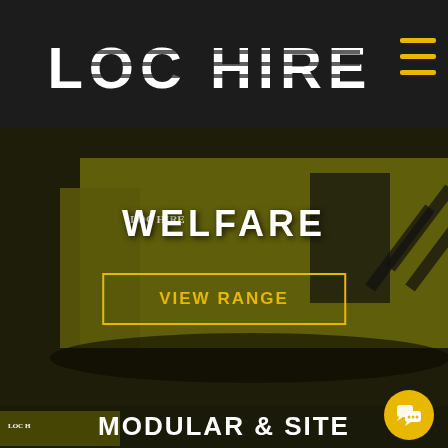LOC HIRE
[Figure (photo): Yellow LOC HIRE welfare unit container, industrial mobile welfare cabin, dark background overlay]
WELFARE
VIEW RANGE
[Figure (photo): Yellow LOC HIRE modular and site unit container, partially visible at bottom of page]
MODULAR & SITE